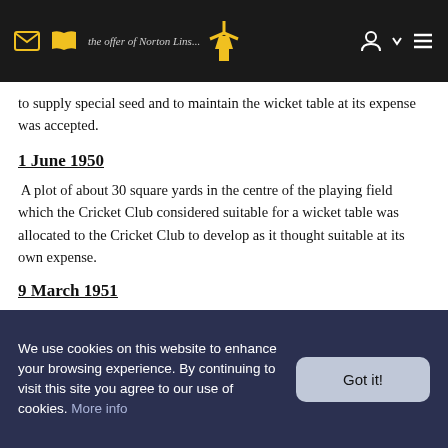Navigation bar with mail, book, windmill logo, person, chevron, and menu icons
the offer of Norton Lindsay and Wolverton Cricket Club to supply special seed and to maintain the wicket table at its expense was accepted.
1 June 1950
A plot of about 30 square yards in the centre of the playing field which the Cricket Club considered suitable for a wicket table was allocated to the Cricket Club to develop as it thought suitable at its own expense.
9 March 1951
Mr J Green agreed to continue a sheep-grazing tenancy of the village playing field if the Village Hall Committee erected a post and wire fence down the west side of the field.
22 February 1952
We use cookies on this website to enhance your browsing experience. By continuing to visit this site you agree to our use of cookies. More info